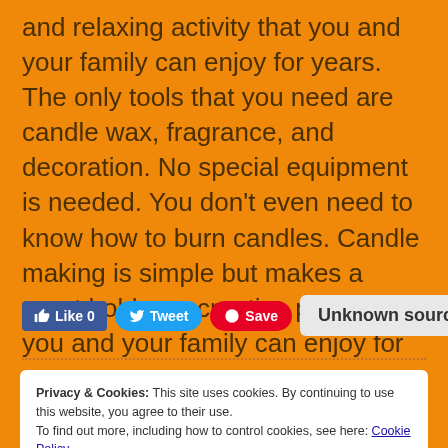and relaxing activity that you and your family can enjoy for years. The only tools that you need are candle wax, fragrance, and decoration. No special equipment is needed. You don't even need to know how to burn candles. Candle making is simple but makes a great hobby or creative project that you and your family can enjoy for years to come.
Like 0 | Tweet | Save | Unknown source
Privacy & Cookies: This site uses cookies. By continuing to use this website, you agree to their use. To find out more, including how to control cookies, see here: Cookie Policy
Close and accept